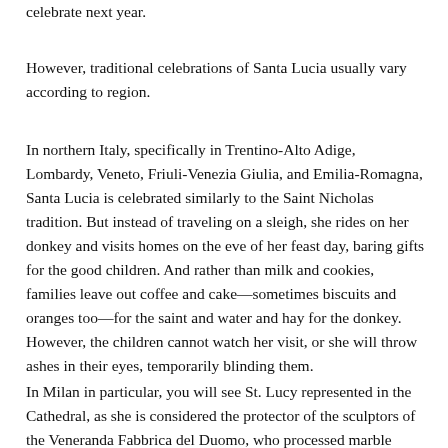celebrate next year.
However, traditional celebrations of Santa Lucia usually vary according to region.
In northern Italy, specifically in Trentino-Alto Adige, Lombardy, Veneto, Friuli-Venezia Giulia, and Emilia-Romagna, Santa Lucia is celebrated similarly to the Saint Nicholas tradition. But instead of traveling on a sleigh, she rides on her donkey and visits homes on the eve of her feast day, baring gifts for the good children. And rather than milk and cookies, families leave out coffee and cake—sometimes biscuits and oranges too—for the saint and water and hay for the donkey. However, the children cannot watch her visit, or she will throw ashes in their eyes, temporarily blinding them.
In Milan in particular, you will see St. Lucy represented in the Cathedral, as she is considered the protector of the sculptors of the Veneranda Fabbrica del Duomo, who processed marble every day, continuously at risk of being hit in the eyes by splinters or blinded